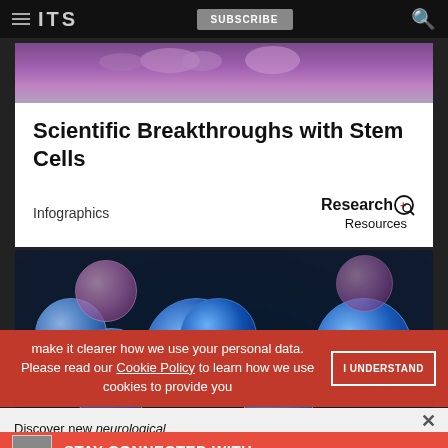ITS | SUBSCRIBE
[Figure (photo): Microscopy image of purple-stained biological cells at the top of card]
Scientific Breakthroughs with Stem Cells
Infographics
[Figure (logo): Research+ Resources logo with circular magnifier icon]
[Figure (photo): Close-up macro photo of blue spherical stem cells with bokeh background]
make it clearer how we use your personal data.
Please read our Cookie Policy to learn how we use cookies to provide you
I UNDERSTAND
Discover new neurological
STAY CONNECTED WITH